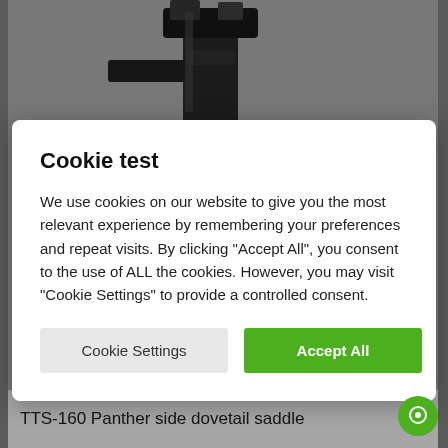[Figure (photo): Black mechanical device (TTS-160 Panther side dovetail saddle) photographed against a light grey background. The device has complex metal components including clamps, rails and mounting hardware.]
Cookie test
We use cookies on our website to give you the most relevant experience by remembering your preferences and repeat visits. By clicking “Accept All”, you consent to the use of ALL the cookies. However, you may visit “Cookie Settings” to provide a controlled consent.
Cookie Settings | Accept All
TTS-160 Panther side dovetail saddle